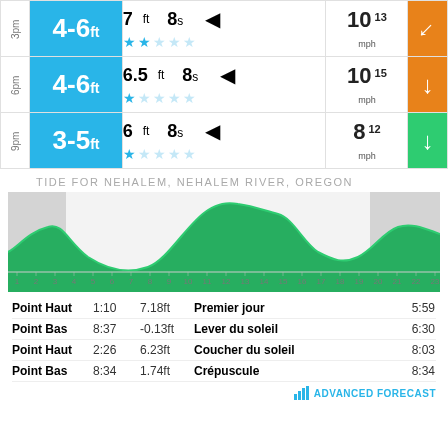| Time | Wave Height | Wave Details | Wind | Direction |
| --- | --- | --- | --- | --- |
| 3pm | 4-6ft | 7ft 8s ◄ ★★☆☆☆ | 10 13mph | ↘ |
| 6pm | 4-6ft | 6.5ft 8s ◄ ★☆☆☆☆ | 10 15mph | ↓ |
| 9pm | 3-5ft | 6ft 8s ◄ ★☆☆☆☆ | 8 12mph | ↓ |
TIDE FOR NEHALEM, NEHALEM RIVER, OREGON
[Figure (area-chart): Tide area chart showing wave height across 23 hours with green area and gray shading for night periods]
| Event | Time | Height | Event | Time |
| --- | --- | --- | --- | --- |
| Point Haut | 1:10 | 7.18ft | Premier jour | 5:59 |
| Point Bas | 8:37 | -0.13ft | Lever du soleil | 6:30 |
| Point Haut | 2:26 | 6.23ft | Coucher du soleil | 8:03 |
| Point Bas | 8:34 | 1.74ft | Crépuscule | 8:34 |
ADVANCED FORECAST